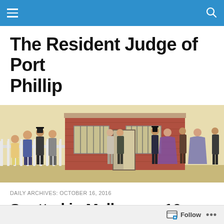The Resident Judge of Port Phillip
[Figure (illustration): A historical watercolour-style painting showing a group of people in 19th-century dress standing outside a red-brick building with barred windows. Men in top hats and women in period dresses are gathered near the entrance.]
DAILY ARCHIVES: OCTOBER 16, 2016
Spotted in Melbourne 16 October 2016
Follow